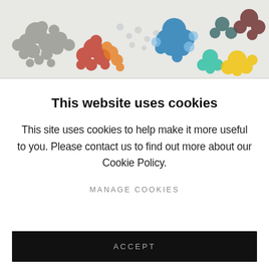[Figure (photo): Colorful mosaic or textile artwork image showing clusters of colored dots/pixels in grey, red, orange, blue, teal, yellow, and dark maroon tones on a light background.]
This website uses cookies
This site uses cookies to help make it more useful to you. Please contact us to find out more about our Cookie Policy.
MANAGE COOKIES
ACCEPT